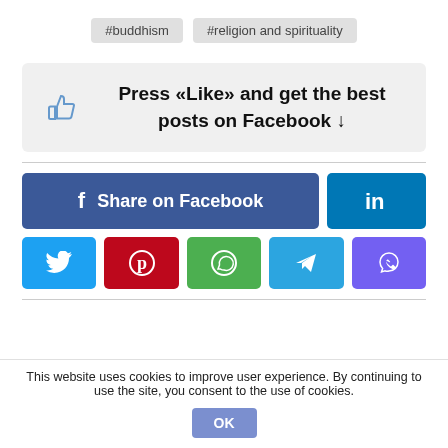#buddhism
#religion and spirituality
Press «Like» and get the best posts on Facebook ↓
[Figure (infographic): Social share buttons: Share on Facebook, LinkedIn, Twitter, Pinterest, WhatsApp, Telegram, Viber]
This website uses cookies to improve user experience. By continuing to use the site, you consent to the use of cookies.